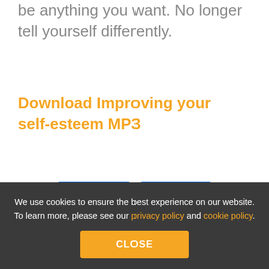be anything you want. No longer tell yourself differently.
Download Improving your self-esteem MP3
[Figure (screenshot): Facebook Like button showing count 0 and Share button, both blue rounded rectangles]
[Figure (screenshot): Twitter, LinkedIn, and Add (plus) social share icon buttons]
[Figure (screenshot): Orange bar/button at bottom of main content]
We use cookies to ensure the best experience on our website. To learn more, please see our privacy policy and cookie policy.
CLOSE